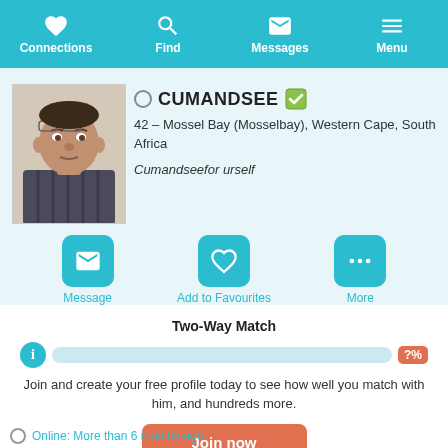Matchmaker
[Figure (screenshot): Navigation bar with icons for Connections (heart), Find (search), Messages (envelope), Menu (hamburger)]
[Figure (photo): Profile photo of a man, middle-aged, wearing a striped shirt]
CUMANDSEE — 42 – Mossel Bay (Mosselbay), Western Cape, South Africa — Cumandseefor urself
[Figure (infographic): Action buttons: Message, Add to Favourites, More]
Two-Way Match
?%
Join and create your free profile today to see how well you match with him, and hundreds more.
Join now
Online: More than 6 months ago